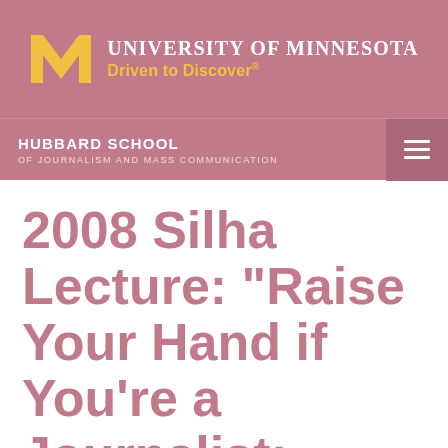University of Minnesota — Driven to Discover®
Hubbard School of Journalism and Mass Communication
2008 Silha Lecture: "Raise Your Hand if You're a Journalist: Does Responsible Reporting Need a Legal Defense?"